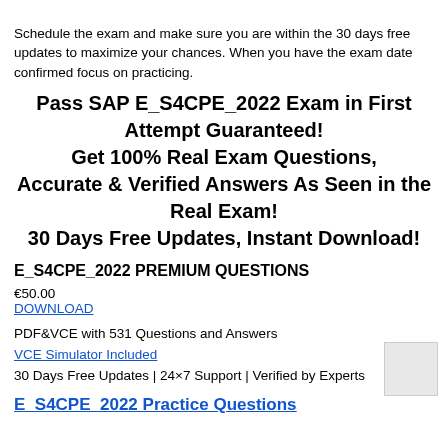Schedule the exam and make sure you are within the 30 days free updates to maximize your chances. When you have the exam date confirmed focus on practicing.
Pass SAP E_S4CPE_2022 Exam in First Attempt Guaranteed! Get 100% Real Exam Questions, Accurate & Verified Answers As Seen in the Real Exam! 30 Days Free Updates, Instant Download!
E_S4CPE_2022 PREMIUM QUESTIONS
€50.00
DOWNLOAD
PDF&VCE with 531 Questions and Answers
VCE Simulator Included
30 Days Free Updates | 24×7 Support | Verified by Experts
E_S4CPE_2022 Practice Questions